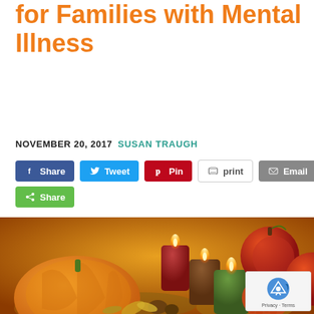for Families with Mental Illness
NOVEMBER 20, 2017  SUSAN TRAUGH
[Figure (infographic): Social sharing buttons: Share (Facebook), Tweet (Twitter), Pin (Pinterest), print, Email, Share (general)]
[Figure (photo): Thanksgiving/autumn still life photo showing pumpkins, lit candles in red, brown and green, apples, pinecones, and fall leaves arranged on a surface with warm orange tones]